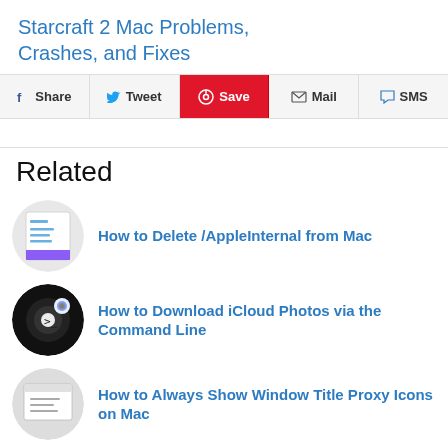Starcraft 2 Mac Problems, Crashes, and Fixes
Share | Tweet | Save | Mail | SMS
Related
How to Delete /AppleInternal from Mac
How to Download iCloud Photos via the Command Line
How to Always Show Window Title Proxy Icons on Mac